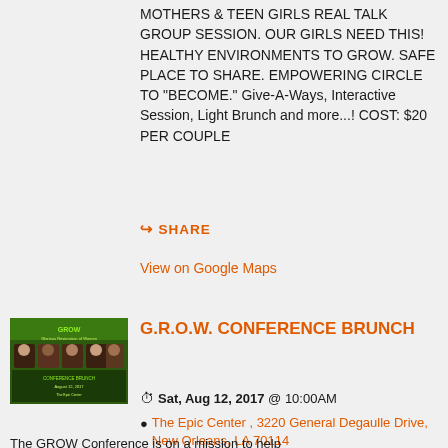MOTHERS & TEEN GIRLS REAL TALK GROUP SESSION. OUR GIRLS NEED THIS! HEALTHY ENVIRONMENTS TO GROW. SAFE PLACE TO SHARE. EMPOWERING CIRCLE TO "BECOME." Give-A-Ways, Interactive Session, Light Brunch and more...! COST: $20 PER COUPLE
SHARE
View on Google Maps
[Figure (photo): Small event poster image for G.R.O.W. Conference Brunch with green background and people's portraits]
G.R.O.W. CONFERENCE BRUNCH
Sat, Aug 12, 2017 @ 10:00AM
The Epic Center , 3220 General Degaulle Drive, New Orleans, LA 70114
The GROW Conference is on a mission to help